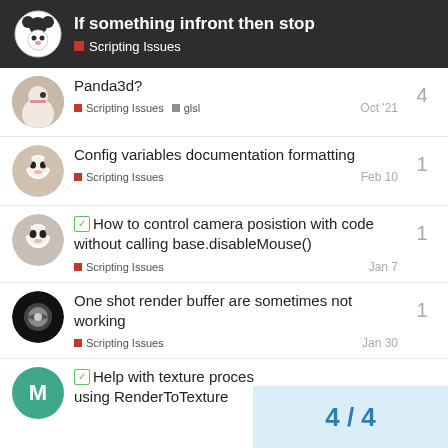If something infront then stop — Scripting Issues
Panda3d?  Scripting Issues  glsl  Oct '21  4
Config variables documentation formatting  Scripting Issues  Feb 10  1
How to control camera posistion with code without calling base.disableMouse()  Scripting Issues  Jan 7  1
One shot render buffer are sometimes not working  Scripting Issues  Jan 30  1
Help with texture process using RenderToTexture  4 / 4